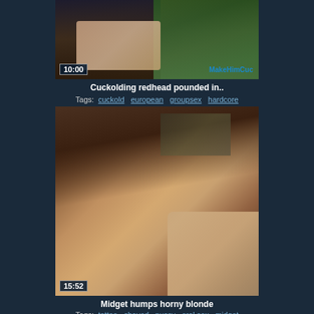[Figure (photo): Partial video thumbnail showing people, with duration badge 10:00 and MakeHimCuc watermark]
Cuckolding redhead pounded in..
Tags: cuckold european groupsex hardcore
[Figure (photo): Video thumbnail showing midget with blonde woman, duration badge 15:52]
Midget humps horny blonde
Tags: tattoo shaved pussy oral sex midget
[Figure (photo): Video thumbnail showing person among cardboard boxes, partially visible]